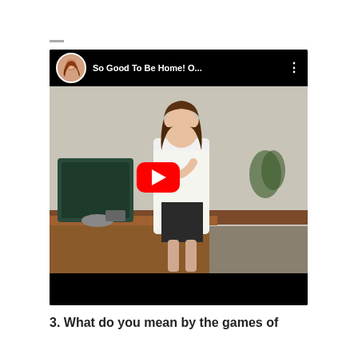[Figure (screenshot): YouTube video embed showing a woman in a white blazer and black skirt standing in an office. The video title reads 'So Good To Be Home! O...' with a channel avatar (woman with auburn hair) in the top left. A large red YouTube play button is overlaid in the center.]
3. What do you mean by the games of